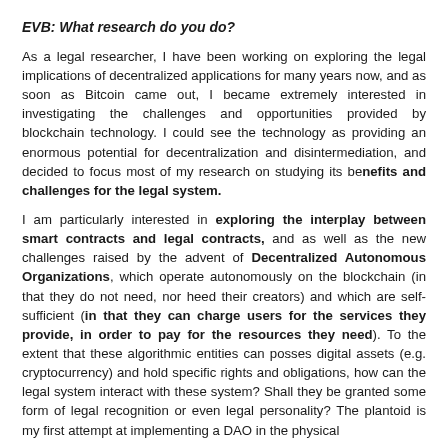EVB: What research do you do?
As a legal researcher, I have been working on exploring the legal implications of decentralized applications for many years now, and as soon as Bitcoin came out, I became extremely interested in investigating the challenges and opportunities provided by blockchain technology. I could see the technology as providing an enormous potential for decentralization and disintermediation, and decided to focus most of my research on studying its benefits and challenges for the legal system.
I am particularly interested in exploring the interplay between smart contracts and legal contracts, and as well as the new challenges raised by the advent of Decentralized Autonomous Organizations, which operate autonomously on the blockchain (in that they do not need, nor heed their creators) and which are self-sufficient (in that they can charge users for the services they provide, in order to pay for the resources they need). To the extent that these algorithmic entities can posses digital assets (e.g. cryptocurrency) and hold specific rights and obligations, how can the legal system interact with these system? Shall they be granted some form of legal recognition or even legal personality? The plantoid is my first attempt at implementing a DAO in the physical